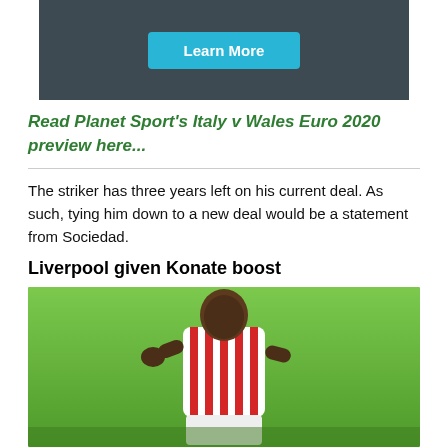[Figure (other): Dark grey advertisement banner with a cyan 'Learn More' button]
Read Planet Sport's Italy v Wales Euro 2020 preview here...
The striker has three years left on his current deal. As such, tying him down to a new deal would be a statement from Sociedad.
Liverpool given Konate boost
[Figure (photo): A footballer wearing a red and white RB Leipzig striped jersey, photographed against a green background]